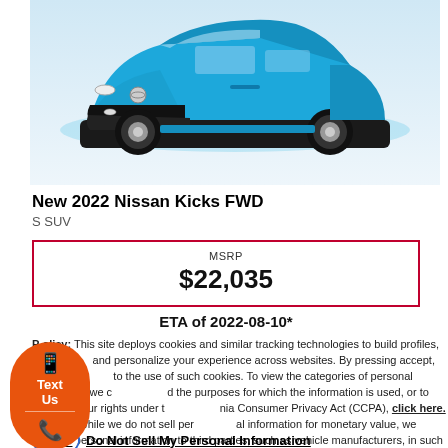[Figure (photo): Blue 2022 Nissan Kicks FWD SUV, front three-quarter view on light blue/white background]
New 2022 Nissan Kicks FWD
S SUV
| MSRP |
| --- |
| $22,035 |
ETA of 2022-08-10*
Privacy Policy: This site deploys cookies and similar tracking technologies to build profiles, serve ads and personalize your experience across websites. By pressing accept, you consent to the use of such cookies. To view the categories of personal information we collect and the purposes for which the information is used, or to exercise your rights under the California Consumer Privacy Act (CCPA), click here. Note that while we do not sell personal information for monetary value, we disclose personal information to third parties, such as vehicle manufacturers, in such a way that may be considered a "sale" of personal information under the CCPA. To direct us to stop the sale of your personal information, or to re-access these settings or disclosures at anytime, click the following icon or link:
Do Not Sell My Personal Information